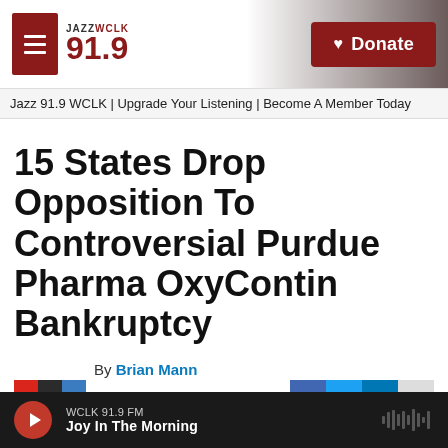JAZZ WCLK 91.9 — Donate
Jazz 91.9 WCLK | Upgrade Your Listening | Become A Member Today
15 States Drop Opposition To Controversial Purdue Pharma OxyContin Bankruptcy
By Brian Mann
Published July 9, 2021 at
WCLK 91.9 FM — Joy In The Morning